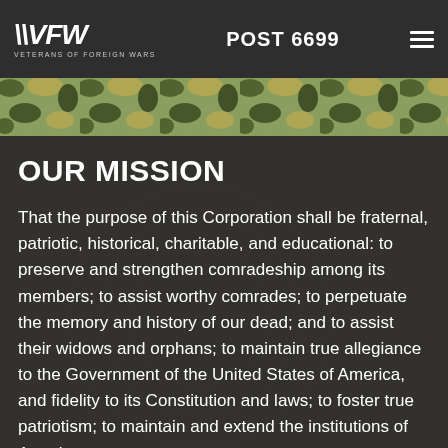VFW VETERANS OF FOREIGN WARS · POST 6699
[Figure (photo): Camouflage pattern fabric strip banner image]
OUR MISSION
That the purpose of this Corporation shall be fraternal, patriotic, historical, charitable, and educational: to preserve and strengthen comradeship among its members; to assist worthy comrades; to perpetuate the memory and history of our dead; and to assist their widows and orphans; to maintain true allegiance to the Government of the United States of America, and fidelity to its Constitution and laws; to foster true patriotism; to maintain and extend the institutions of American